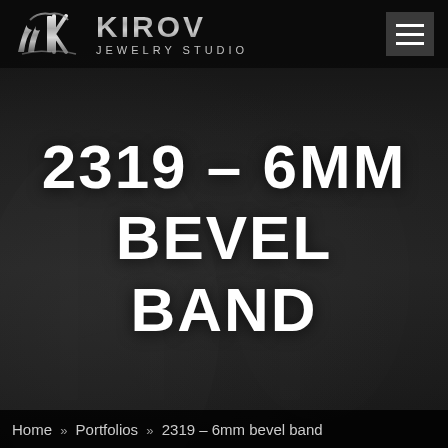[Figure (logo): Kirov Jewelry Studio logo with stylized KK monogram icon and metallic silver text reading KIROV with subtitle JEWELRY STUDIO]
2319 – 6MM BEVEL BAND
Home » Portfolios » 2319 – 6mm bevel band